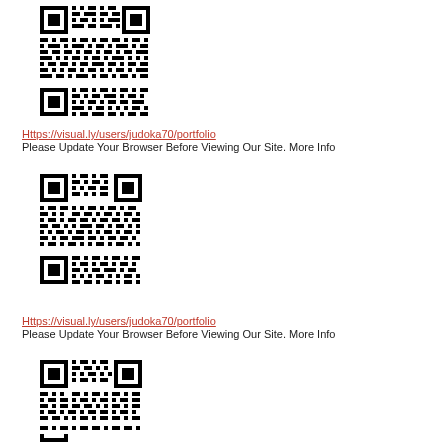[Figure (other): QR code linking to https://visual.ly/users/judoka70/portfolio]
Https://visual.ly/users/judoka70/portfolio
Please Update Your Browser Before Viewing Our Site. More Info
[Figure (other): QR code linking to https://visual.ly/users/judoka70/portfolio]
Https://visual.ly/users/judoka70/portfolio
Please Update Your Browser Before Viewing Our Site. More Info
[Figure (other): QR code linking to https://visual.ly/users/judoka70/portfolio]